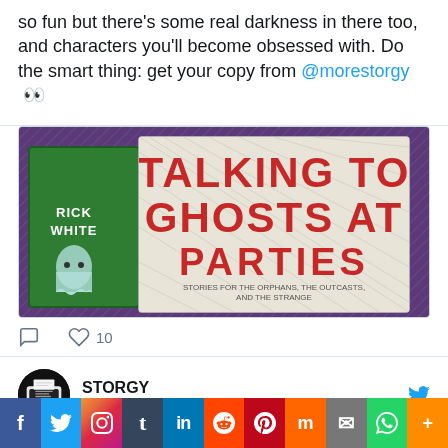so fun but there's some real darkness in there too, and characters you'll become obsessed with. Do the smart thing: get your copy from @morestorgy 👀
[Figure (photo): Photo of a book titled 'Talking To Ghosts At Parties' by Rick White, displayed against a purple background. The cover shows the title in large red bold letters.]
♡ 10
STORGY @... · Aug 29
Talking To Ghosts At Parties by @ricketywhite is